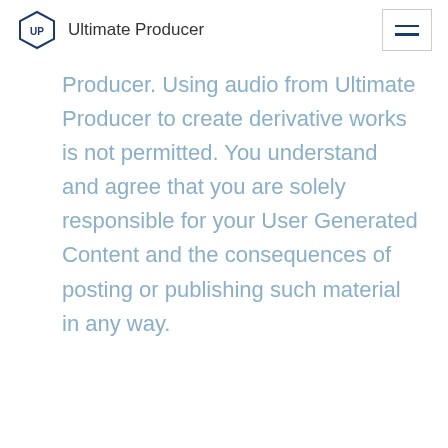Ultimate Producer
Producer. Using audio from Ultimate Producer to create derivative works is not permitted. You understand and agree that you are solely responsible for your User Generated Content and the consequences of posting or publishing such material in any way.